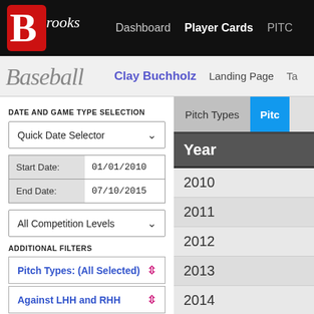Brooks Baseball — Dashboard | Player Cards | PITCH
Clay Buchholz — Landing Page | Ta
DATE AND GAME TYPE SELECTION
Quick Date Selector
Start Date: 01/01/2010
End Date: 07/10/2015
All Competition Levels
ADDITIONAL FILTERS
Pitch Types: (All Selected)
Against LHH and RHH
Y-AXIS: DEPENDENT MEASURE
Percentage Pitch Usage
Pitch Types | Pitch
| Year |
| --- |
| 2010 |
| 2011 |
| 2012 |
| 2013 |
| 2014 |
| 2015 |